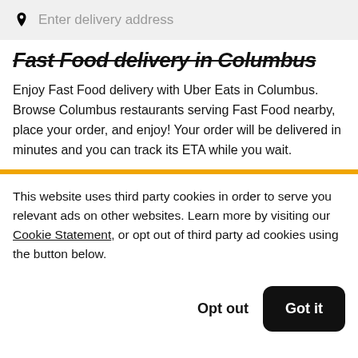Enter delivery address
Fast Food delivery in Columbus
Enjoy Fast Food delivery with Uber Eats in Columbus. Browse Columbus restaurants serving Fast Food nearby, place your order, and enjoy! Your order will be delivered in minutes and you can track its ETA while you wait.
This website uses third party cookies in order to serve you relevant ads on other websites. Learn more by visiting our Cookie Statement, or opt out of third party ad cookies using the button below.
Opt out   Got it